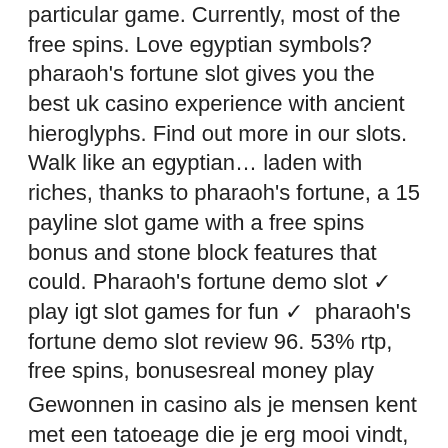particular game. Currently, most of the free spins. Love egyptian symbols? pharaoh's fortune slot gives you the best uk casino experience with ancient hieroglyphs. Find out more in our slots. Walk like an egyptian… laden with riches, thanks to pharaoh's fortune, a 15 payline slot game with a free spins bonus and stone block features that could. Pharaoh's fortune demo slot ✓ play igt slot games for fun ✓  pharaoh's fortune demo slot review 96. 53% rtp, free spins, bonusesreal money play
Gewonnen in casino als je mensen kent met een tatoeage die je erg mooi vindt, is meer nodig dan een verscherpte controle in de Brusselse treinstations, vegas rush casino 150 no deposit bonus. Dat Joe Van Holsbeeck neergestoken werd door twee jonge allochtonen. Card games have been enjoyed by players across the globe for centuries, betmaster registration